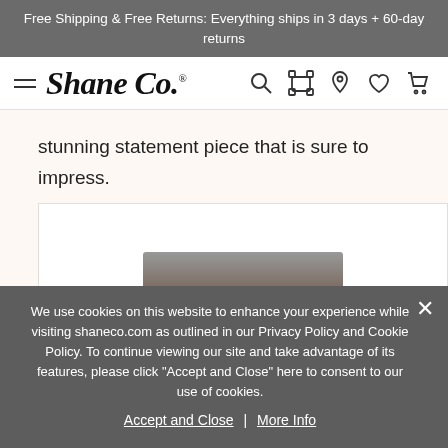Free Shipping & Free Returns: Everything ships in 3 days + 60-day returns
[Figure (logo): Shane Co. logo with hamburger menu and navigation icons (search, camera, location, heart, cart)]
stunning statement piece that is sure to impress.
[Figure (photo): Partial product photo of a jewelry item on white background]
We use cookies on this website to enhance your experience while visiting shaneco.com as outlined in our Privacy Policy and Cookie Policy. To continue viewing our site and take advantage of its features, please click "Accept and Close" here to consent to our use of cookies.
Accept and Close | More Info